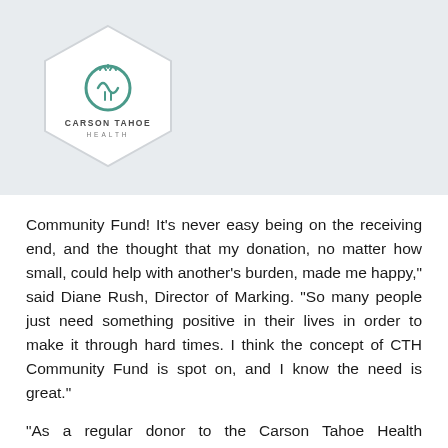[Figure (logo): Carson Tahoe Health logo inside a white hexagon shape on a light gray background]
Community Fund! It’s never easy being on the receiving end, and the thought that my donation, no matter how small, could help with another’s burden, made me happy,” said Diane Rush, Director of Marking. “So many people just need something positive in their lives in order to make it through hard times. I think the concept of CTH Community Fund is spot on, and I know the need is great.”
“As a regular donor to the Carson Tahoe Health Foundation, I was thrilled to be able to direct my contributions towards the Carson Tahoe